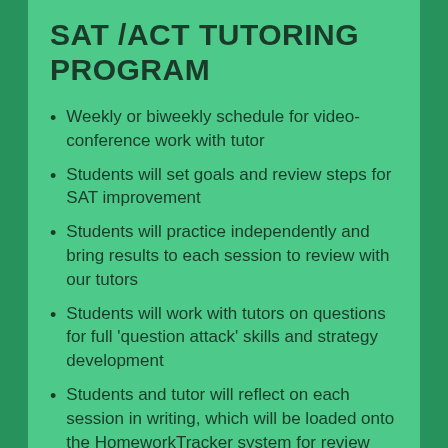SAT /ACT TUTORING PROGRAM
Weekly or biweekly schedule for video-conference work with tutor
Students will set goals and review steps for SAT improvement
Students will practice independently and bring results to each session to review with our tutors
Students will work with tutors on questions for full 'question attack' skills and strategy development
Students and tutor will reflect on each session in writing, which will be loaded onto the HomeworkTracker system for review
Tutors will identify specific student needs and areas for improvement at each session.